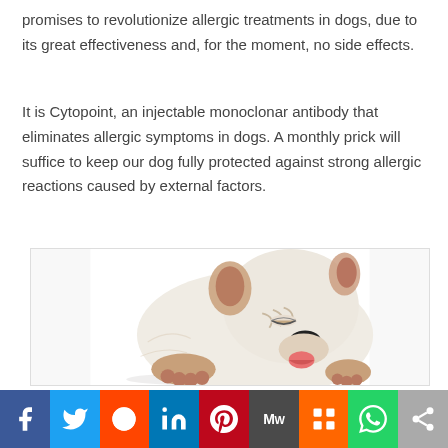promises to revolutionize allergic treatments in dogs, due to its great effectiveness and, for the moment, no side effects.
It is Cytopoint, an injectable monoclonar antibody that eliminates allergic symptoms in dogs. A monthly prick will suffice to keep our dog fully protected against strong allergic reactions caused by external factors.
[Figure (photo): White English Bulldog lying down, licking or chewing its paw, photographed against a white background.]
Social share bar with Facebook, Twitter, Reddit, LinkedIn, Pinterest, MeWe, Mix, WhatsApp, Share buttons